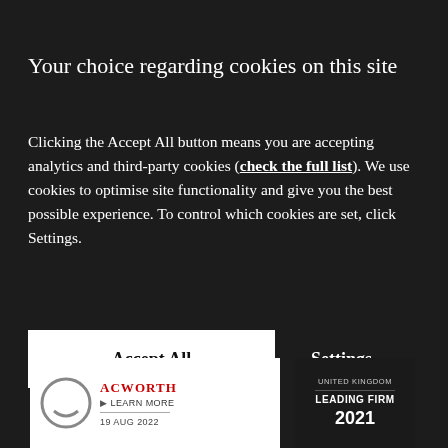Your choice regarding cookies on this site
Clicking the Accept All button means you are accepting analytics and third-party cookies (check the full list). We use cookies to optimise site functionality and give you the best possible experience. To control which cookies are set, click Settings.
Accept All
Settings
[Figure (screenshot): Bottom banner showing a white card with a circular logo icon, red ACWORTH text, LEARN MORE link, date 19 AUG 2022, and a dark card with UNITED KINGDOM LEADING FIRM 2021 badge]